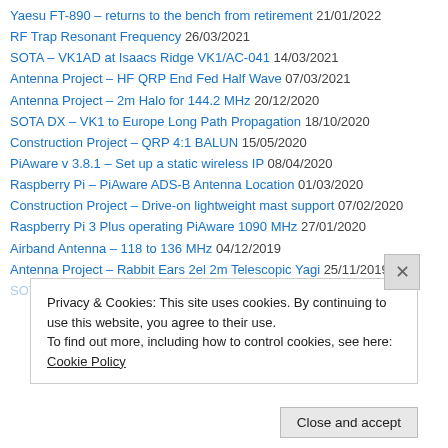Yaesu FT-890 – returns to the bench from retirement 21/01/2022
RF Trap Resonant Frequency 26/03/2021
SOTA – VK1AD at Isaacs Ridge VK1/AC-041 14/03/2021
Antenna Project – HF QRP End Fed Half Wave 07/03/2021
Antenna Project – 2m Halo for 144.2 MHz 20/12/2020
SOTA DX – VK1 to Europe Long Path Propagation 18/10/2020
Construction Project – QRP 4:1 BALUN 15/05/2020
PiAware v 3.8.1 – Set up a static wireless IP 08/04/2020
Raspberry Pi – PiAware ADS-B Antenna Location 01/03/2020
Construction Project – Drive-on lightweight mast support 07/02/2020
Raspberry Pi 3 Plus operating PiAware 1090 MHz 27/01/2020
Airband Antenna – 118 to 136 MHz 04/12/2019
Antenna Project – Rabbit Ears 2el 2m Telescopic Yagi 25/11/2019
SOTA – Lunch Box SHF at Booroomba Rocks 22/11/2019
Privacy & Cookies: This site uses cookies. By continuing to use this website, you agree to their use. To find out more, including how to control cookies, see here: Cookie Policy